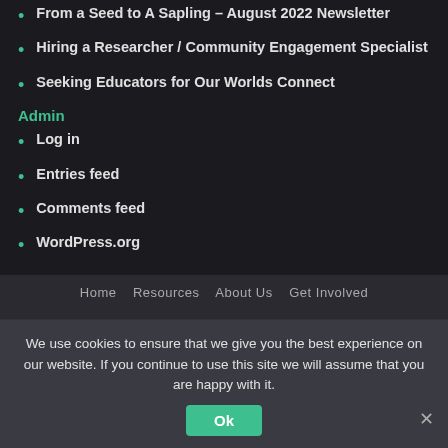From a Seed to A Sapling – August 2022 Newsletter
Hiring a Researcher / Community Engagement Specialist
Seeking Educators for Our Worlds Connect
Admin
Log in
Entries feed
Comments feed
WordPress.org
Home  Resources  About Us  Get Involved
We use cookies to ensure that we give you the best experience on our website. If you continue to use this site we will assume that you are happy with it.